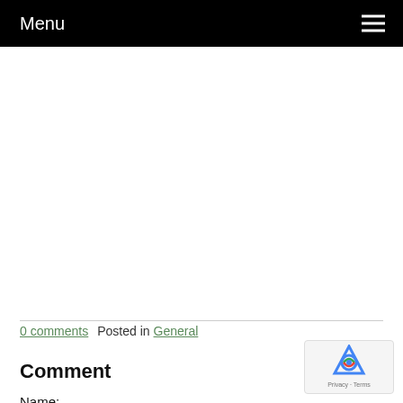Menu
Go Back
0 comments   Posted in General
Comment
Name: